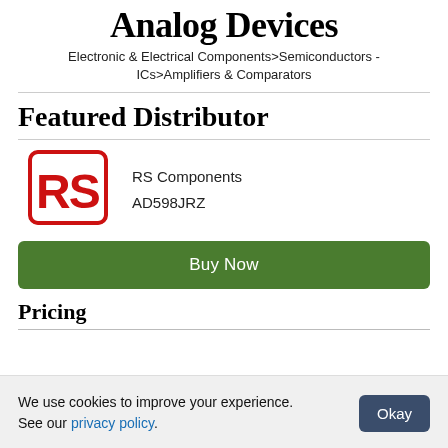Analog Devices
Electronic & Electrical Components>Semiconductors - ICs>Amplifiers & Comparators
Featured Distributor
[Figure (logo): RS Components logo - red square with rounded corners containing white RS letters]
RS Components
AD598JRZ
Buy Now
Pricing
We use cookies to improve your experience. See our privacy policy.